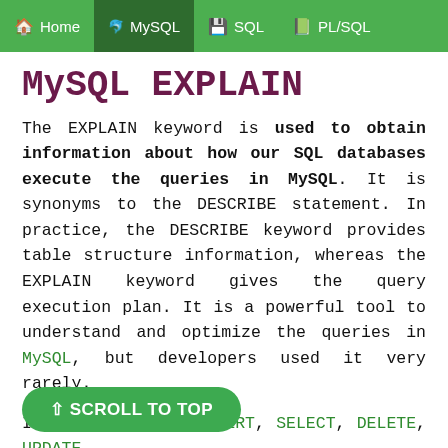Home | MySQL | SQL | PL/SQL
MySQL EXPLAIN
The EXPLAIN keyword is used to obtain information about how our SQL databases execute the queries in MySQL. It is synonyms to the DESCRIBE statement. In practice, the DESCRIBE keyword provides table structure information, whereas the EXPLAIN keyword gives the query execution plan. It is a powerful tool to understand and optimize the queries in MySQL, but developers used it very rarely.
It can work with INSERT, SELECT, DELETE, UPDATE, ... From MySQL 8.0.19 and can also work with TABLE